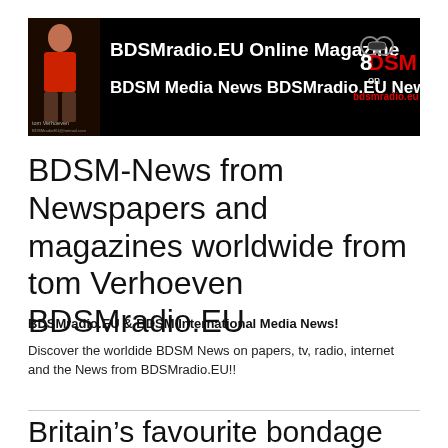[Figure (logo): BDSMradio.EU Online Magazine banner with black background, showing a person in red shirt on left, text 'BDSMradio.EU Online Magazine' and 'BDSM Media News BDSMradio.EU News' in white, and 'BDSM on bdsmradio.eu' in red on right with handcuffs icon. Bottom text: tom Verhoeven, BDSMradiEU@hotmail.com]
BDSM-News from Newspapers and magazines worldwide from tom Verhoeven BDSMradio.EU
BDSMradio.EU & BDSM International Media News!
Discover the worldide BDSM News on papers, tv, radio, internet and the News from BDSMradio.EU!!
Britain’s favourite bondage activity exposed – 70% have tried it